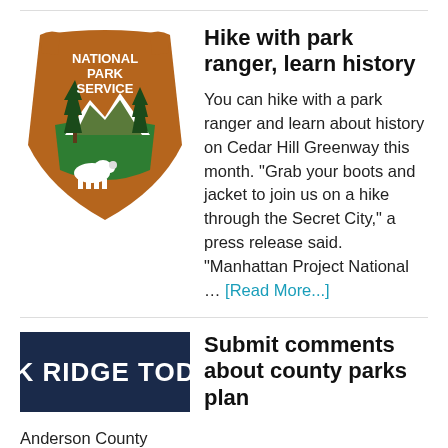[Figure (logo): National Park Service arrowhead logo with bison, mountains, and trees]
Hike with park ranger, learn history
You can hike with a park ranger and learn about history on Cedar Hill Greenway this month. "Grab your boots and jacket to join us on a hike through the Secret City," a press release said. "Manhattan Project National … [Read More...]
[Figure (logo): Oak Ridge Today newspaper logo showing 'K RIDGE TOD' text on dark blue background]
Submit comments about county parks plan
Anderson County